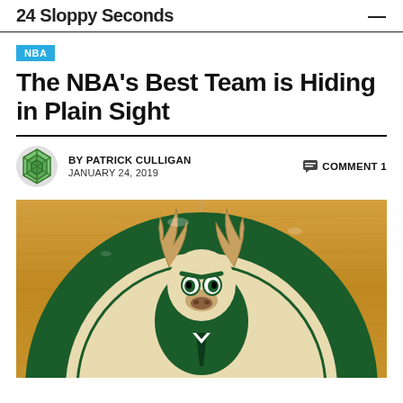24 Sloppy Seconds
NBA
The NBA's Best Team is Hiding in Plain Sight
BY PATRICK CULLIGAN  COMMENT 1  JANUARY 24, 2019
[Figure (photo): Milwaukee Bucks logo on basketball court floor, showing a buck deer head with green and cream circular design reading MILWAUKEE BUCKS]